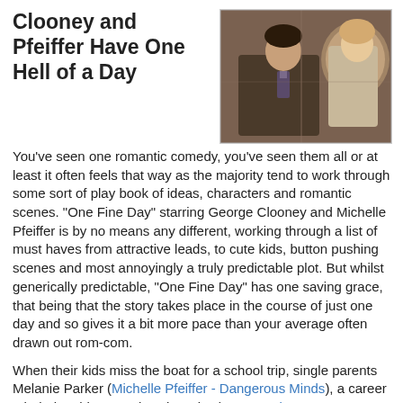Clooney and Pfeiffer Have One Hell of a Day
[Figure (photo): A man and woman (George Clooney and Michelle Pfeiffer) standing close together, looking through what appears to be a window or bars, in a period or neutral setting.]
You've seen one romantic comedy, you've seen them all or at least it often feels that way as the majority tend to work through some sort of play book of ideas, characters and romantic scenes. "One Fine Day" starring George Clooney and Michelle Pfeiffer is by no means any different, working through a list of must haves from attractive leads, to cute kids, button pushing scenes and most annoyingly a truly predictable plot. But whilst generically predictable, "One Fine Day" has one saving grace, that being that the story takes place in the course of just one day and so gives it a bit more pace than your average often drawn out rom-com.
When their kids miss the boat for a school trip, single parents Melanie Parker (Michelle Pfeiffer - Dangerous Minds), a career minded architect, and Jack Taylor (George Clooney - Burn After Reading), a laid back tabloid journalist, are forced to join forces despite initially loathing each other. With both facing a catastrophe at work, they